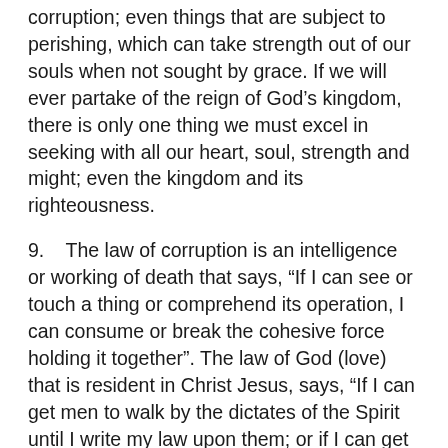something that is under the influence of corruption; even things that are subject to perishing, which can take strength out of our souls when not sought by grace. If we will ever partake of the reign of God's kingdom, there is only one thing we must excel in seeking with all our heart, soul, strength and might; even the kingdom and its righteousness.
9.    The law of corruption is an intelligence or working of death that says, “If I can see or touch a thing or comprehend its operation, I can consume or break the cohesive force holding it together”. The law of God (love) that is resident in Christ Jesus, says, “If I can get men to walk by the dictates of the Spirit until I write my law upon them; or if I can get men to seek things that are in the interest of others until it becomes their default nature